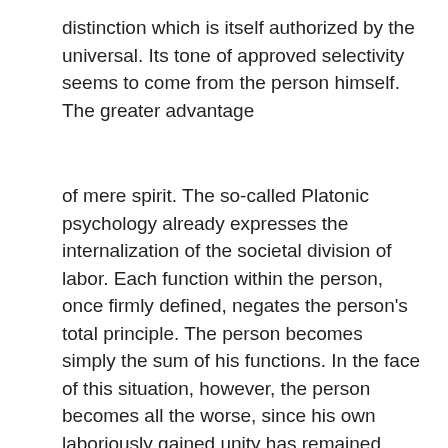distinction which is itself authorized by the universal. Its tone of approved selectivity seems to come from the person himself. The greater advantage
of mere spirit. The so-called Platonic psychology already expresses the internalization of the societal division of labor. Each function within the person, once firmly defined, negates the person's total principle. The person becomes simply the sum of his functions. In the face of this situation, however, the person becomes all the worse, since his own laboriously gained unity has remained fragile. Each individual function, created under the law of self-preservation, becomes so firmly congealed